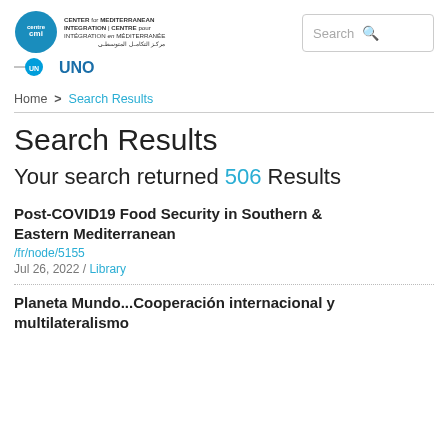[Figure (logo): CMI (Centre for Mediterranean Integration) and UNOPS logo in the top-left header area]
Search
Home > Search Results
Search Results
Your search returned 506 Results
Post-COVID19 Food Security in Southern & Eastern Mediterranean
/fr/node/5155
Jul 26, 2022 / Library
Planeta Mundo...Cooperación internacional y multilateralismo